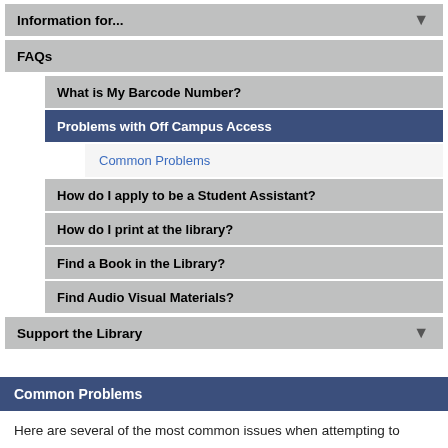Information for...
FAQs
What is My Barcode Number?
Problems with Off Campus Access
Common Problems
How do I apply to be a Student Assistant?
How do I print at the library?
Find a Book in the Library?
Find Audio Visual Materials?
Support the Library
Common Problems
Here are several of the most common issues when attempting to